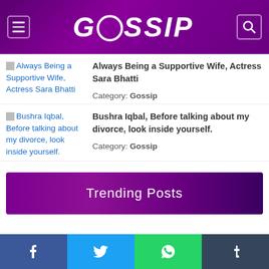GOSSIP
Always Being a Supportive Wife, Actress Sara Bhatti | Category: Gossip
Bushra Iqbal, Before talking about my divorce, look inside yourself. | Category: Gossip
Trending Posts
Facebook Twitter WhatsApp Tumblr